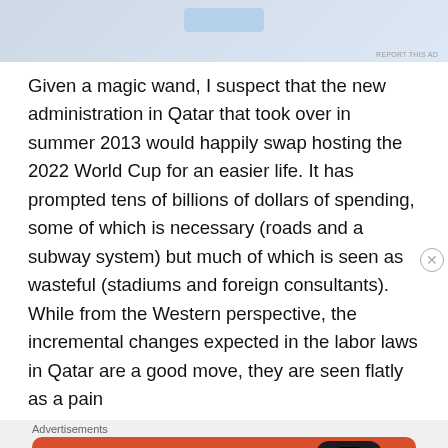[Figure (other): Top advertisement banner area (light blue/grey background)]
Given a magic wand, I suspect that the new administration in Qatar that took over in summer 2013 would happily swap hosting the 2022 World Cup for an easier life. It has prompted tens of billions of dollars of spending, some of which is necessary (roads and a subway system) but much of which is seen as wasteful (stadiums and foreign consultants). While from the Western perspective, the incremental changes expected in the labor laws in Qatar are a good move, they are seen flatly as a pain
Advertisements
[Figure (screenshot): DuckDuckGo advertisement banner: orange background with text 'Search, browse, and email with more privacy. All in One Free App' and a phone mockup showing the DuckDuckGo logo]